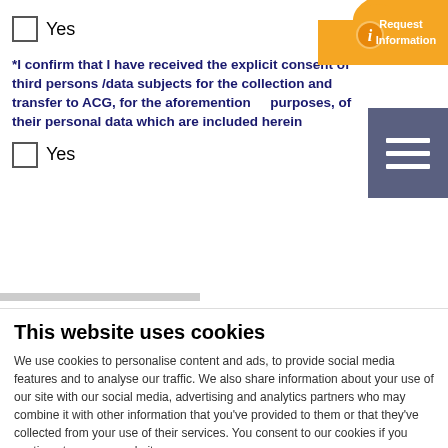Yes
*I confirm that I have received the explicit consent of third persons /data subjects for the collection and transfer to ACG, for the aforementioned purposes, of their personal data which are included herein
Yes
This website uses cookies
We use cookies to personalise content and ads, to provide social media features and to analyse our traffic. We also share information about your use of our site with our social media, advertising and analytics partners who may combine it with other information that you've provided to them or that they've collected from your use of their services. You consent to our cookies if you continue to use our website.
Allow all cookies
Allow selection
Use necessary cookies only
Necessary  Preferences  Statistics  Marketing  Show details